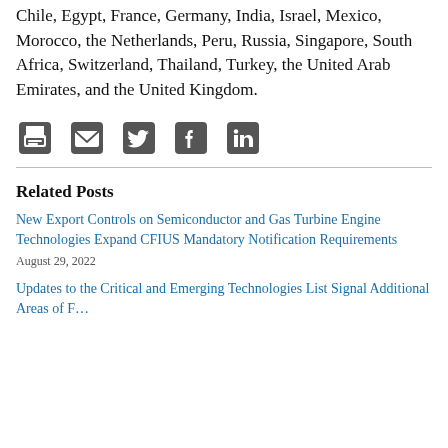Chile, Egypt, France, Germany, India, Israel, Mexico, Morocco, the Netherlands, Peru, Russia, Singapore, South Africa, Switzerland, Thailand, Turkey, the United Arab Emirates, and the United Kingdom.
[Figure (infographic): Row of 5 social/share icons: print, email, Twitter, Facebook, LinkedIn — all in dark gray]
Related Posts
New Export Controls on Semiconductor and Gas Turbine Engine Technologies Expand CFIUS Mandatory Notification Requirements
August 29, 2022
Updates to the Critical and Emerging Technologies List Signal Additional Areas of Focus